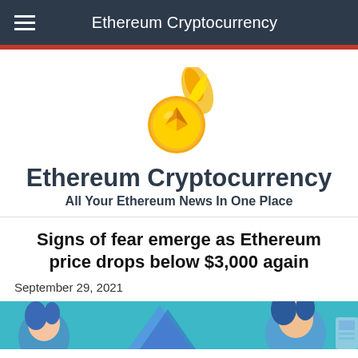Ethereum Cryptocurrency
[Figure (logo): Ethereum coin with flame logo - golden coin with ETH diamond symbol and orange flame]
Ethereum Cryptocurrency
All Your Ethereum News In One Place
Signs of fear emerge as Ethereum price drops below $3,000 again
September 29, 2021
[Figure (illustration): Partial view of colorful illustrated characters at the bottom of the page on a teal/cyan background]